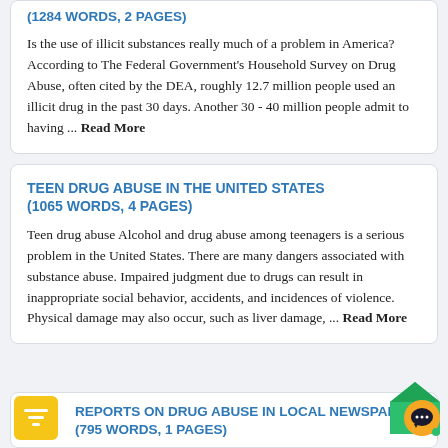(1284 WORDS, 2 PAGES)
Is the use of illicit substances really much of a problem in America? According to The Federal Government's Household Survey on Drug Abuse, often cited by the DEA, roughly 12.7 million people used an illicit drug in the past 30 days. Another 30 - 40 million people admit to having ... Read More
TEEN DRUG ABUSE IN THE UNITED STATES
(1065 WORDS, 4 PAGES)
Teen drug abuse Alcohol and drug abuse among teenagers is a serious problem in the United States. There are many dangers associated with substance abuse. Impaired judgment due to drugs can result in inappropriate social behavior, accidents, and incidences of violence. Physical damage may also occur, such as liver damage, ... Read More
REPORTS ON DRUG ABUSE IN LOCAL NEWSPAPER
(795 WORDS, 1 PAGES)